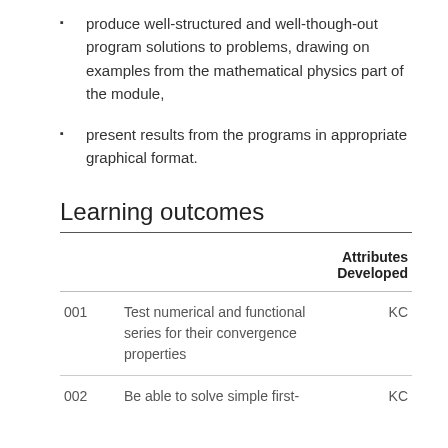produce well-structured and well-though-out program solutions to problems, drawing on examples from the mathematical physics part of the module,
present results from the programs in appropriate graphical format.
Learning outcomes
|  |  | Attributes Developed |
| --- | --- | --- |
| 001 | Test numerical and functional series for their convergence properties | KC |
| 002 | Be able to solve simple first- | KC |